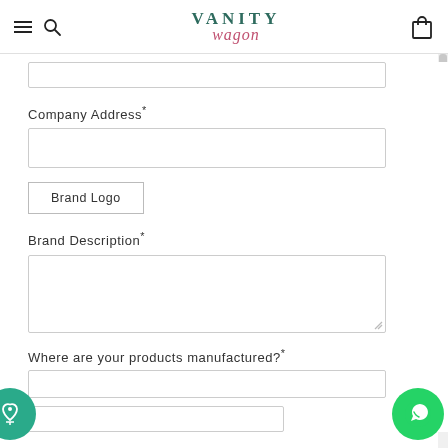Vanity Wagon
Company Address*
Brand Logo
Brand Description*
Where are your products manufactured?*